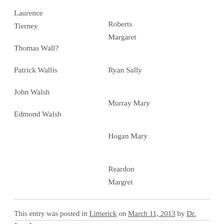| Laurence |  |
| Tierney | Roberts |
|  | Margaret |
| Thomas Wall? |  |
|  | Ryan Sally |
| Patrick Wallis |  |
|  | Murray Mary |
| John Walsh |  |
|  | Hogan Mary |
| Edmond Walsh |  |
|  | Reardon |
|  | Margret |
This entry was posted in Limerick on March 11, 2013 by Dr. Jane Lyons.
.